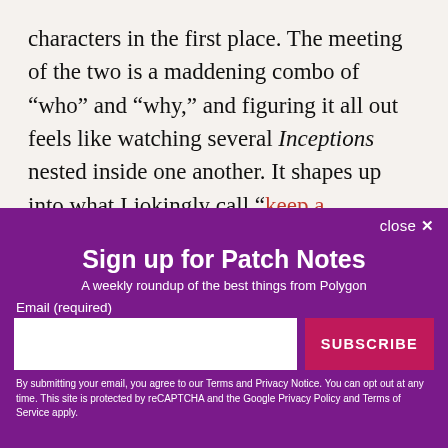characters in the first place. The meeting of the two is a maddening combo of “who” and “why,” and figuring it all out feels like watching several Inceptions nested inside one another. It shapes up into what I jokingly call “keep a notebook” entertainment, since both Deathloop and Evelyn Hardcastle require
[Figure (screenshot): Email newsletter sign-up modal overlay with purple background. Title: 'Sign up for Patch Notes'. Subtitle: 'A weekly roundup of the best things from Polygon'. Email input field and SUBSCRIBE button. Footer disclaimer about Terms and Privacy Notice, reCAPTCHA, Google Privacy Policy and Terms of Service.]